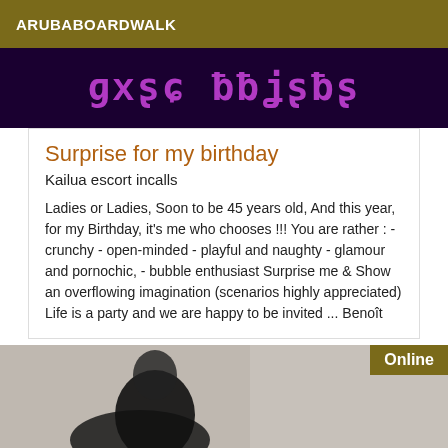ARUBABOARDWALK
[Figure (photo): Dark purple/black background with pink/purple neon-style text characters]
Surprise for my birthday
Kailua escort incalls
Ladies or Ladies, Soon to be 45 years old, And this year, for my Birthday, it's me who chooses !!! You are rather : - crunchy - open-minded - playful and naughty - glamour and pornochic, - bubble enthusiast Surprise me & Show an overflowing imagination (scenarios highly appreciated) Life is a party and we are happy to be invited ... Benoît
[Figure (photo): Person wearing black clothing against a light stone/marble wall background, with an Online badge in the top right corner]